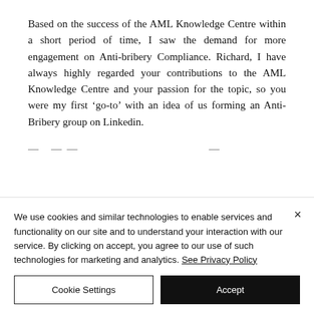Based on the success of the AML Knowledge Centre within a short period of time, I saw the demand for more engagement on Anti-bribery Compliance. Richard, I have always highly regarded your contributions to the AML Knowledge Centre and your passion for the topic, so you were my first ‘go-to’ with an idea of us forming an Anti-Bribery group on Linkedin.
We use cookies and similar technologies to enable services and functionality on our site and to understand your interaction with our service. By clicking on accept, you agree to our use of such technologies for marketing and analytics. See Privacy Policy